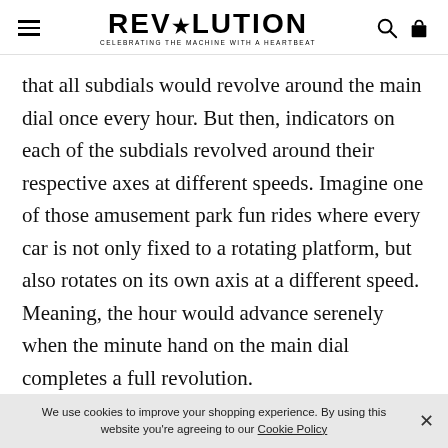REVOLUTION — CELEBRATING THE MACHINE WITH A HEARTBEAT
that all subdials would revolve around the main dial once every hour. But then, indicators on each of the subdials revolved around their respective axes at different speeds. Imagine one of those amusement park fun rides where every car is not only fixed to a rotating platform, but also rotates on its own axis at a different speed. Meaning, the hour would advance serenely when the minute hand on the main dial completes a full revolution.
We use cookies to improve your shopping experience. By using this website you're agreeing to our Cookie Policy